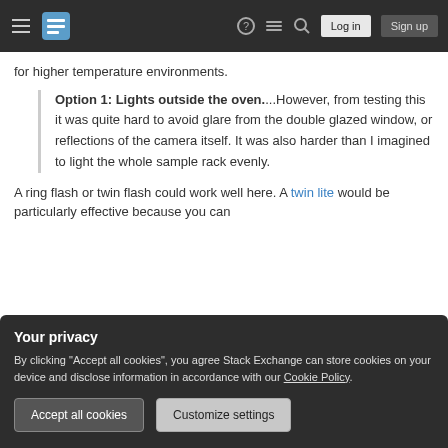Stack Exchange navigation bar with hamburger menu, logo, help, chat, search icons, Log in and Sign up buttons
for higher temperature environments.
Option 1: Lights outside the oven....However, from testing this it was quite hard to avoid glare from the double glazed window, or reflections of the camera itself. It was also harder than I imagined to light the whole sample rack evenly.
A ring flash or twin flash could work well here. A twin lite would be particularly effective because you can
Your privacy
By clicking "Accept all cookies", you agree Stack Exchange can store cookies on your device and disclose information in accordance with our Cookie Policy.
Accept all cookies | Customize settings